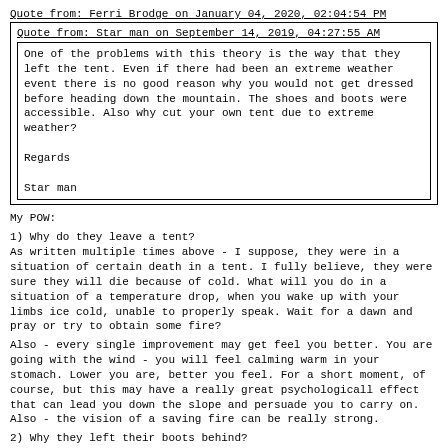Quote from: Ferri Brodge on January 04, 2020, 02:04:54 PM
Quote from: Star man on September 14, 2019, 04:27:55 AM
One of the problems with this theory is the way that they left the tent.  Even if there had been an extreme weather event there is no good reason why you would not get dressed before heading down the mountain.  The shoes and boots were accessible.  Also why cut your own tent due to extreme weather?

Regards

Star man
My POW:
1) Why do they leave a tent?
As written multiple times above - I suppose, they were in a situation of certain death in a tent. I fully believe, they were sure they will die because of cold. What will you do in a situation of a temperature drop, when you wake up with your limbs ice cold, unable to properly speak. Wait for a dawn and pray or try to obtain some fire?
Also - every single improvement may get feel you better. You are going with the wind - you will feel calming warm in your stomach. Lower you are, better you feel. For a short moment, of course, but this may have a really great psychologicall effect that can lead you down the slope and persuade you to carry on. Also - the vision of a saving fire can be really strong.
2) Why they left their boots behind?
Have you ever tried to put up a leather boot when its ice cold? Its impossible. Especially when you are not able to motor your fingers and your foot is barely movable. This is why you have to sleep with your boots in a sleeping bag. As far as I know, there was a strange pile of everyones boots in one corner of a tent. Maybe they were not carefull enough and left their boots near the enterance - and the late night cold made the leather boot iron. This is also how to explain one-shoe person. He was able to put up just one.
And also - I walked several times without boots in the snow, not just short distances. Really soon, you will feel nothing. Lack of shoes is the last thing you will feel, feet will addapt. If they were in a hurry, boots should seem redundant in a moment.